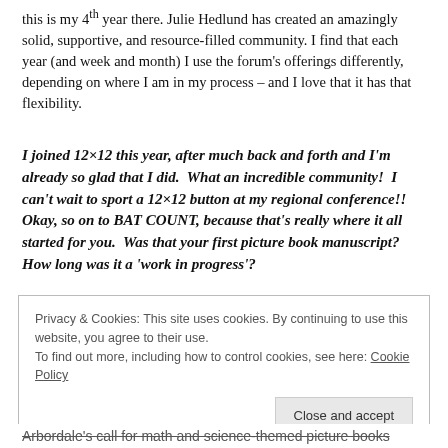this is my 4th year there. Julie Hedlund has created an amazingly solid, supportive, and resource-filled community. I find that each year (and week and month) I use the forum's offerings differently, depending on where I am in my process – and I love that it has that flexibility.
I joined 12×12 this year, after much back and forth and I'm already so glad that I did.  What an incredible community!  I can't wait to sport a 12×12 button at my regional conference!!  Okay, so on to BAT COUNT, because that's really where it all started for you.  Was that your first picture book manuscript?  How long was it a 'work in progress'?
Privacy & Cookies: This site uses cookies. By continuing to use this website, you agree to their use.
To find out more, including how to control cookies, see here: Cookie Policy
Close and accept
Arbordale's call for math and science-themed picture books